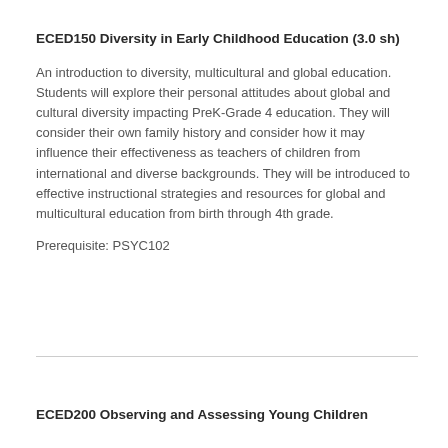ECED150 Diversity in Early Childhood Education (3.0 sh)
An introduction to diversity, multicultural and global education.  Students will explore their personal attitudes about global and cultural diversity impacting PreK-Grade 4 education.  They will consider their own family history and consider how it may influence their effectiveness as teachers of children from international and diverse backgrounds.  They will be introduced to effective instructional strategies and resources for global and multicultural education from birth through 4th grade.
Prerequisite:  PSYC102
ECED200 Observing and Assessing Young Children